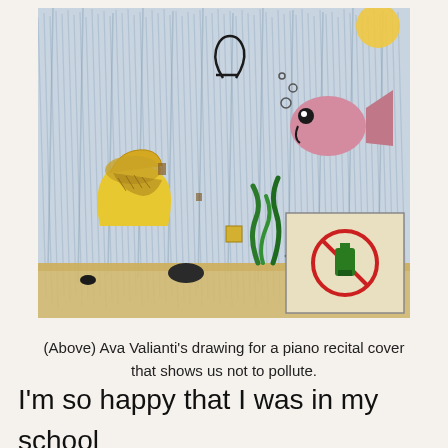[Figure (illustration): A child's crayon drawing of an underwater scene. Features a pink fish in the upper right, a yellow shoe/clog on the left, green seaweed, a sandy ocean floor, dark rocks, and a small inset drawing in the lower right showing a green plug/bottle in a red circle (no pollution symbol). Background is blue-grey crayon streaks suggesting water. A yellow sun or shape is visible in the upper right corner.]
(Above) Ava Valianti's drawing for a piano recital cover that shows us not to pollute.
I'm so happy that I was in my school play this year.  Why?  you might ask.